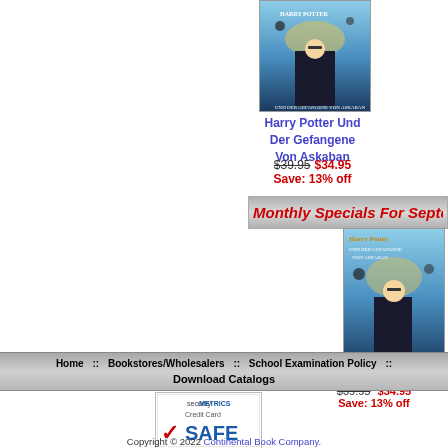[Figure (illustration): Harry Potter book cover thumbnail - Prisoner of Azkaban German edition, small version at top]
Harry Potter Und Der Gefangene Von Askaban
$39.95  $34.95
Save: 13% off
Monthly Specials For Septe
[Figure (illustration): Harry Potter Und Der Gefangene Von Askaban book cover - larger version]
Harry Potter Und Der Gefangene Von As
$39.95  $34.95
Save: 13% off
Home :: Bookstores/Wholesalers :: School Examination Policy :: Download Catalogs
[Figure (logo): SecurityMetrics Credit Card SAFE badge]
Copyright © 2022 Continental Book Company.